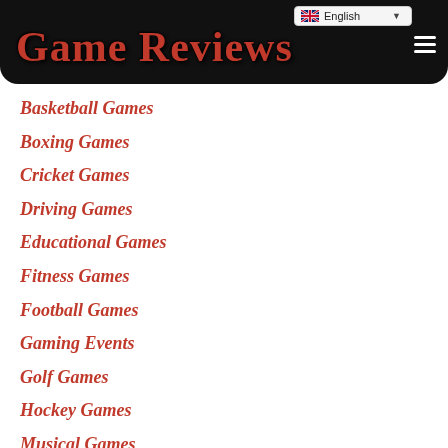Game Reviews
Basketball Games
Boxing Games
Cricket Games
Driving Games
Educational Games
Fitness Games
Football Games
Gaming Events
Golf Games
Hockey Games
Musical Games